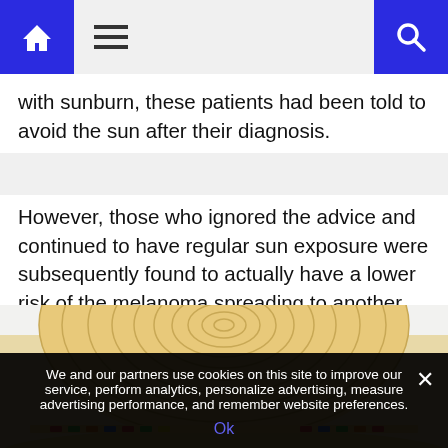Home | Menu | Search
with sunburn, these patients had been told to avoid the sun after their diagnosis.
However, those who ignored the advice and continued to have regular sun exposure were subsequently found to actually have a lower risk of the melanoma spreading to another part of the body.
[Figure (photo): A wide-brimmed straw sun hat viewed from above/side, showing concentric woven circles on top, with colorful striped band visible at brim edge.]
We and our partners use cookies on this site to improve our service, perform analytics, personalize advertising, measure advertising performance, and remember website preferences.
Ok